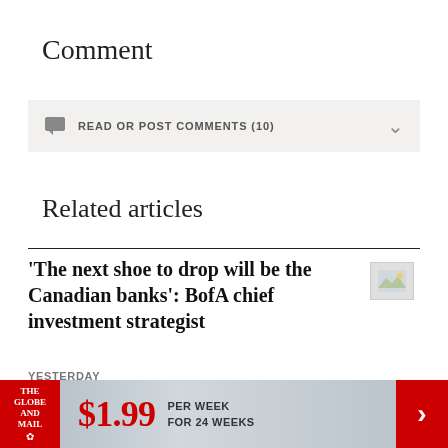Comment
READ OR POST COMMENTS (10)
Related articles
'The next shoe to drop will be the Canadian banks': BofA chief investment strategist
YESTERDAY
[Figure (other): Advertisement banner: The Globe and Mail logo, $1.99 PER WEEK FOR 24 WEEKS with red arrow]
$1.99 PER WEEK FOR 24 WEEKS